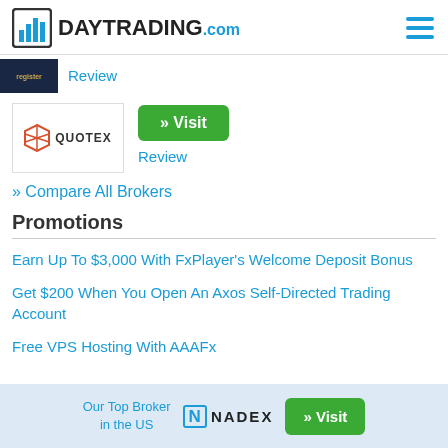DAYTRADING.com
Review
[Figure (logo): Quotex broker logo with red hexagonal icon and QUOTEX text]
» Visit
Review
» Compare All Brokers
Promotions
Earn Up To $3,000 With FxPlayer's Welcome Deposit Bonus
Get $200 When You Open An Axos Self-Directed Trading Account
Free VPS Hosting With AAAFx
Our Top Broker in the US   NADEX   » Visit